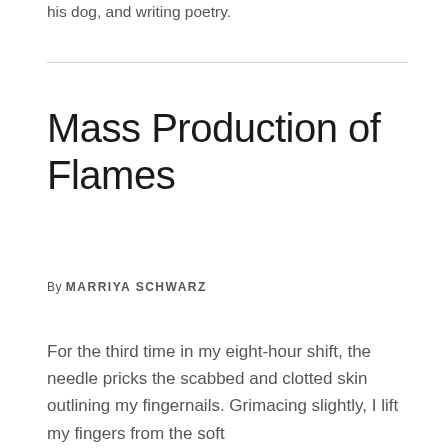his dog, and writing poetry.
Mass Production of Flames
By MARRIYA SCHWARZ
For the third time in my eight-hour shift, the needle pricks the scabbed and clotted skin outlining my fingernails. Grimacing slightly, I lift my fingers from the soft